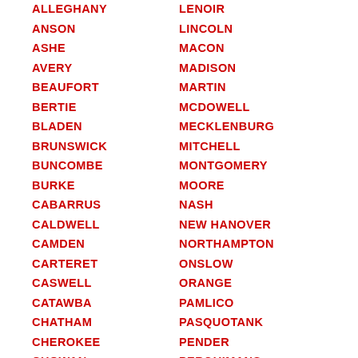ALLEGHANY
ANSON
ASHE
AVERY
BEAUFORT
BERTIE
BLADEN
BRUNSWICK
BUNCOMBE
BURKE
CABARRUS
CALDWELL
CAMDEN
CARTERET
CASWELL
CATAWBA
CHATHAM
CHEROKEE
CHOWAN
CLAY
LENOIR
LINCOLN
MACON
MADISON
MARTIN
MCDOWELL
MECKLENBURG
MITCHELL
MONTGOMERY
MOORE
NASH
NEW HANOVER
NORTHAMPTON
ONSLOW
ORANGE
PAMLICO
PASQUOTANK
PENDER
PERQUIMANS
PERSON